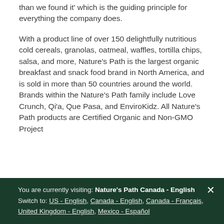than we found it' which is the guiding principle for everything the company does.
With a product line of over 150 delightfully nutritious cold cereals, granolas, oatmeal, waffles, tortilla chips, salsa, and more, Nature's Path is the largest organic breakfast and snack food brand in North America, and is sold in more than 50 countries around the world. Brands within the Nature's Path family include Love Crunch, Qi'a, Que Pasa, and EnviroKidz. All Nature's Path products are Certified Organic and Non-GMO Project
You are currently visiting: Nature's Path Canada - English
Switch to: US - English, Canada - English, Canada - Français, United Kingdom - English, Mexico - Español